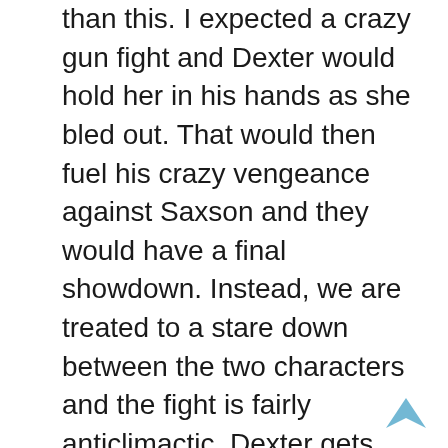than this. I expected a crazy gun fight and Dexter would hold her in his hands as she bled out. That would then fuel his crazy vengeance against Saxson and they would have a final showdown. Instead, we are treated to a stare down between the two characters and the fight is fairly anticlimactic. Dexter gets stabbed in the shoulder and he retaliates with stabbing Saxson in the neck until he bleeds out. Now this was all recorded on film and somehow they think they'll get away with self defense for him. Let me rewind a bit as well, during this whole fight with Saxson, Dexter left Harrison with Hannah to go on a bus to Jacksonville; he left them at that point because he felt like he had to finish off Saxson. Elway would then catch her on the bus, but Hannah would inject him with tranquilizer so the pair of them could escape. Personally, I wouldn't want to leave my son and a woman that I wanted to start a new life with. Then that closing scene wasn't anything I expected. First off, after Dexter decides to pull the plug on Deb that was